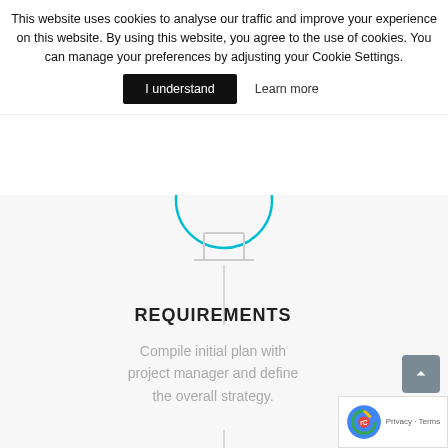This website uses cookies to analyse our traffic and improve your experience on this website. By using this website, you agree to the use of cookies. You can manage your preferences by adjusting your Cookie Settings.
I understand  Learn more
REQUIREMENTS
Compile initial plan with project manager and define the overall strategy.
[Figure (illustration): A circle outline with a laptop icon inside, part of a vertical flowchart/infographic with teal vertical lines on sides.]